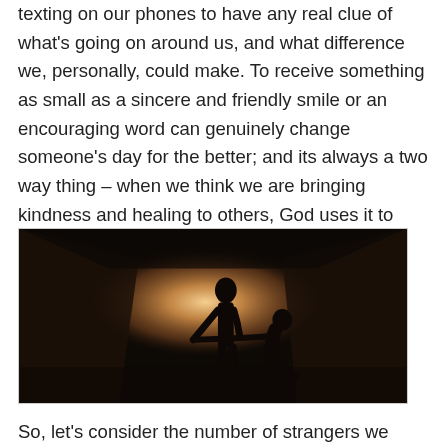texting on our phones to have any real clue of what's going on around us, and what difference we, personally, could make. To receive something as small as a sincere and friendly smile or an encouraging word can genuinely change someone's day for the better; and its always a two way thing – when we think we are bringing kindness and healing to others, God uses it to bring healing to us.
[Figure (photo): Silhouette of two people in a dark tunnel with light at the end — one standing person reaching a hand down to another person crouching or kneeling on the ground.]
So, let's consider the number of strangers we